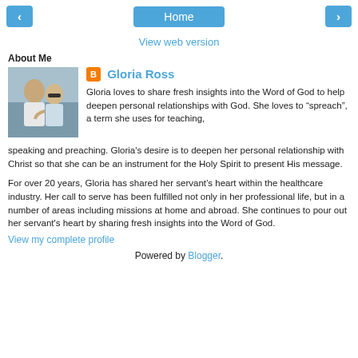< Home >
View web version
About Me
[Figure (photo): Photo of Gloria Ross and another person smiling, an outdoor or casual setting.]
Gloria Ross
Gloria loves to share fresh insights into the Word of God to help deepen personal relationships with God. She loves to “spreach”, a term she uses for teaching, speaking and preaching. Gloria's desire is to deepen her personal relationship with Christ so that she can be an instrument for the Holy Spirit to present His message.
For over 20 years, Gloria has shared her servant’s heart within the healthcare industry. Her call to serve has been fulfilled not only in her professional life, but in a number of areas including missions at home and abroad. She continues to pour out her servant's heart by sharing fresh insights into the Word of God.
View my complete profile
Powered by Blogger.